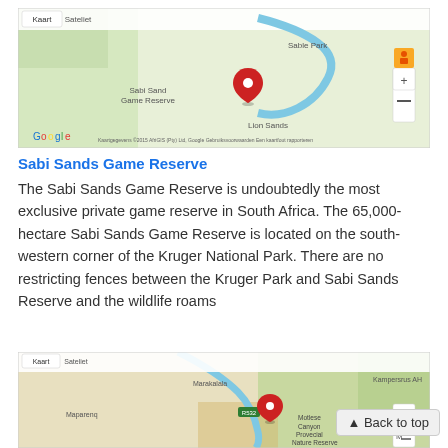[Figure (map): Google Maps screenshot showing Sabi Sand Game Reserve area with red location pin, green terrain, blue river, labeled areas including Sabi Sand Game Reserve, Sable Park, Lion Sands. Has Kaart/Sateliet tabs and zoom controls.]
Sabi Sands Game Reserve
The Sabi Sands Game Reserve is undoubtedly the most exclusive private game reserve in South Africa. The 65,000-hectare Sabi Sands Game Reserve is located on the south-western corner of the Kruger National Park. There are no restricting fences between the Kruger Park and Sabi Sands Reserve and the wildlife roams
[Figure (map): Google Maps screenshot showing another location with red pin, labeled Motlese Canyon Provecial Nature Reserve, Marakalala, Kampersrus AH, Maparenq areas. Has Kaart/Sateliet tabs and zoom controls.]